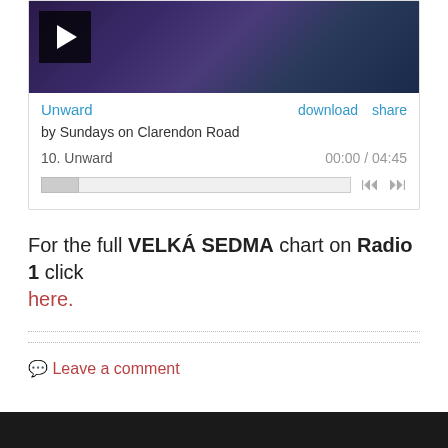[Figure (screenshot): Embedded music player widget showing track 'Unward' by Sundays on Clarendon Road. Has album art thumbnail with play button, track title link, download and share links, track number and time display (00:00 / 04:45), progress bar, and skip controls.]
For the full VELKÁ SEDMA chart on Radio 1 click here.
Leave a comment